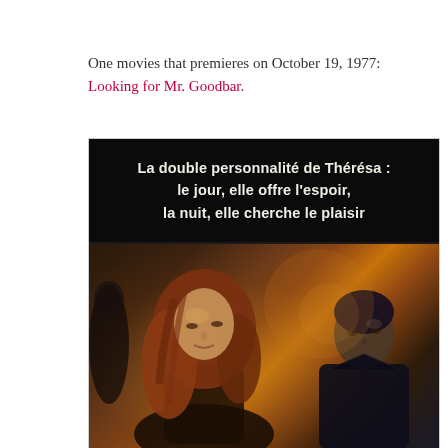One movies that premieres on October 19, 1977: Looking for Mr. Goodbar.
[Figure (photo): French movie poster for 'Looking for Mr. Goodbar' (1977). Dark background with white bold French text at top reading 'La double personnalité de Thérésa : le jour, elle offre l'espoir, la nuit, elle cherche le plaisir'. Below, a blurred/vintage photo shows a woman with auburn hair on the left and a man on the right.]